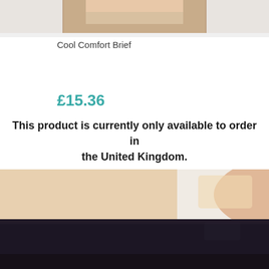[Figure (photo): Top portion of a product image showing a beige/nude colored garment on a mannequin, cropped at top of page]
Cool Comfort Brief
£15.36
This product is currently only available to order in the United Kingdom.
[Figure (photo): Lower body mannequin wearing a dark navy/black high-waisted compression brief garment, shown from waist to mid-thigh area]